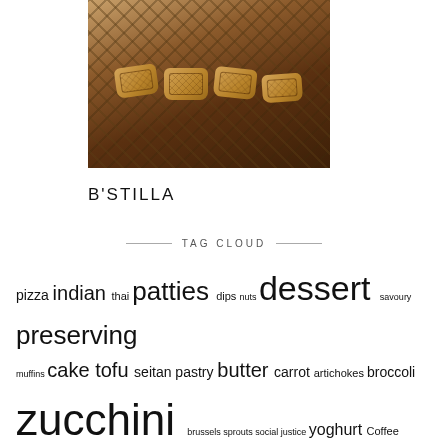[Figure (photo): Photograph of b'stilla pastries on a wooden surface, showing oval-shaped pastries with crosshatch pattern dusted with sugar/sesame]
B'STILLA
TAG CLOUD
pizza indian thai patties dips nuts dessert savoury preserving muffins cake tofu seitan pastry butter carrot artichokes broccoli zucchini brussels sprouts social justice yoghurt Coffee travel sandwiches middle eastern beetroot vietnamese capsicum tomato comfort food dumplings potato italian tempeh cabbage sweet breakfast spanish vegan mofo 2014 peas greens chilli snacks vegan mofo 2015 sweet potato mexican spinach eggplant chocolate sandwich pancakes vegetables fine dining pumpkin winter china curry bacon corn cauliflower asian fruit